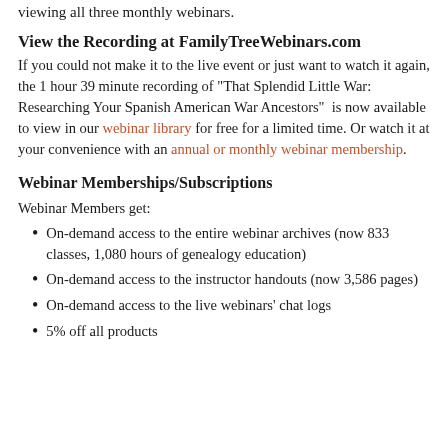viewing all three monthly webinars.
View the Recording at FamilyTreeWebinars.com
If you could not make it to the live event or just want to watch it again, the 1 hour 39 minute recording of "That Splendid Little War: Researching Your Spanish American War Ancestors" is now available to view in our webinar library for free for a limited time. Or watch it at your convenience with an annual or monthly webinar membership.
Webinar Memberships/Subscriptions
Webinar Members get:
On-demand access to the entire webinar archives (now 833 classes, 1,080 hours of genealogy education)
On-demand access to the instructor handouts (now 3,586 pages)
On-demand access to the live webinars' chat logs
5% off all products